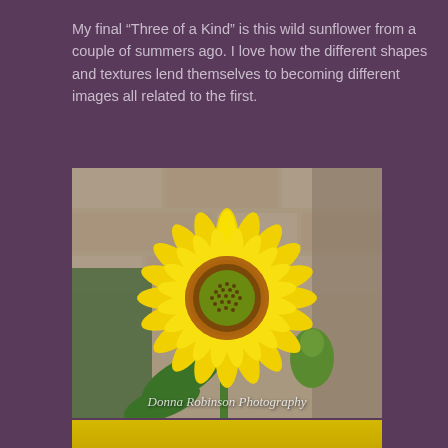My final “Three of a Kind” is this wild sunflower from a couple of summers ago. I love how the different shapes and textures lend themselves to becoming different images all related to the first.
[Figure (photo): Close-up photograph of a bright yellow wild sunflower with dark brown and orange center disk, green leaves and bud visible, blurred stone/brick wall background. Watermark reads 'Donna Robinson Photography'.]